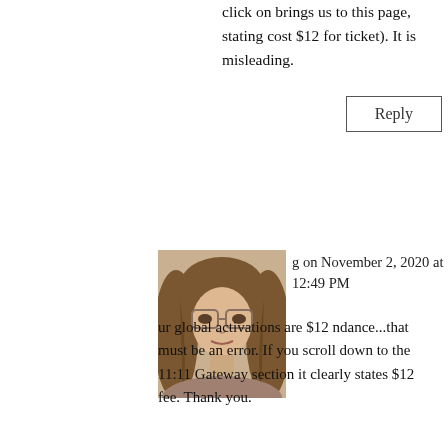click on brings us to this page, stating cost $12 for ticket). It is misleading.
Reply
g on November 2, 2020 at 12:49 PM
[Figure (photo): Profile photo of a woman with glasses and long brown hair]
ur global activations are $12 ndance...that must be an error. If you scroll down to the 11:11 Gateway section it clearly states $12 fee. Thank you.
Reply
Claudia on November 2, 2020 at 1:20 PM
It must be an error because the on option I can find is the US$ 12 optic